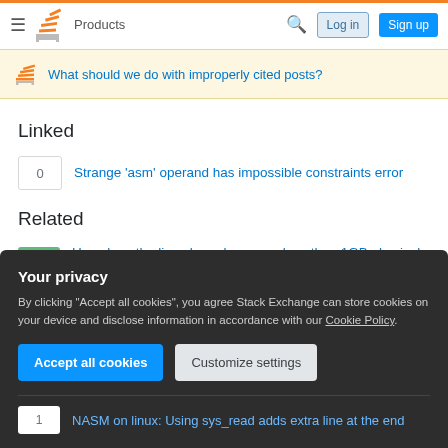≡  [Stack Overflow logo]  Products  🔍  Log in  Sign up
What should we do with improperly cited posts?
Linked
0  Strange 'asm' operand has impossible constraints error
Related
52  How does the linux kernel manage less than 1GB physical memory?
6  Higher half kernel initialization
Your privacy
By clicking "Accept all cookies", you agree Stack Exchange can store cookies on your device and disclose information in accordance with our Cookie Policy.
Accept all cookies  Customize settings
1  NASM on linux: Using sys_read adds extra line at the end